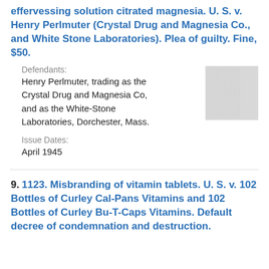effervessing solution citrated magnesia. U. S. v. Henry Perlmuter (Crystal Drug and Magnesia Co., and White Stone Laboratories). Plea of guilty. Fine, $50.
Defendants:
Henry Perlmuter, trading as the Crystal Drug and Magnesia Co, and as the White-Stone Laboratories, Dorchester, Mass.
[Figure (other): Thumbnail image of a document page, small and partially legible, showing dense text columns.]
Issue Dates:
April 1945
9. 1123. Misbranding of vitamin tablets. U. S. v. 102 Bottles of Curley Cal-Pans Vitamins and 102 Bottles of Curley Bu-T-Caps Vitamins. Default decree of condemnation and destruction.